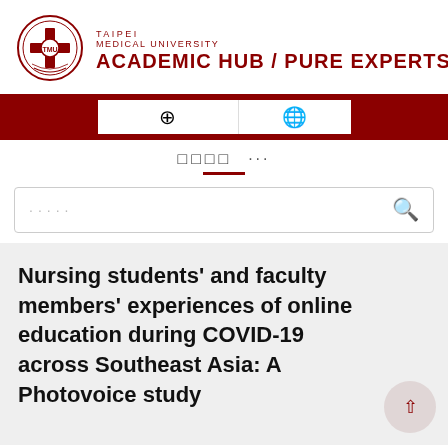[Figure (logo): Taipei Medical University circular seal logo in dark red]
TAIPEI MEDICAL UNIVERSITY ACADEMIC HUB / PURE EXPERTS
[Figure (screenshot): Dark red navigation bar with two white buttons containing globe/search icons]
□□□□ ...
[Figure (screenshot): Search bar with placeholder dots and search icon]
Nursing students' and faculty members' experiences of online education during COVID-19 across Southeast Asia: A Photovoice study